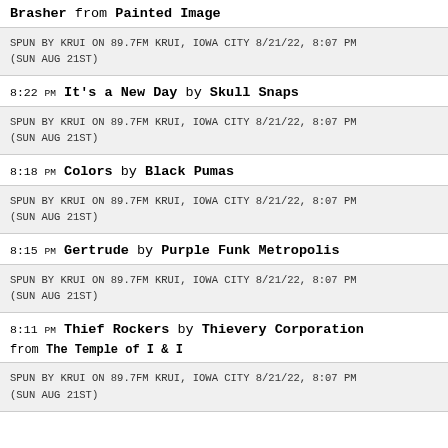Brasher from Painted Image
SPUN BY KRUI ON 89.7FM KRUI, IOWA CITY 8/21/22, 8:07 PM (SUN AUG 21ST)
8:22 PM It's a New Day by Skull Snaps
SPUN BY KRUI ON 89.7FM KRUI, IOWA CITY 8/21/22, 8:07 PM (SUN AUG 21ST)
8:18 PM Colors by Black Pumas
SPUN BY KRUI ON 89.7FM KRUI, IOWA CITY 8/21/22, 8:07 PM (SUN AUG 21ST)
8:15 PM Gertrude by Purple Funk Metropolis
SPUN BY KRUI ON 89.7FM KRUI, IOWA CITY 8/21/22, 8:07 PM (SUN AUG 21ST)
8:11 PM Thief Rockers by Thievery Corporation
from The Temple of I & I
SPUN BY KRUI ON 89.7FM KRUI, IOWA CITY 8/21/22, 8:07 PM (SUN AUG 21ST)